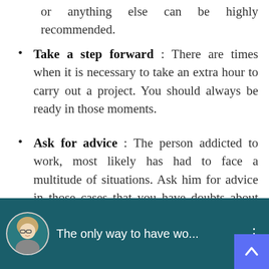or anything else can be highly recommended.
Take a step forward : There are times when it is necessary to take an extra hour to carry out a project. You should always be ready in those moments.
Ask for advice : The person addicted to work, most likely has had to face a multitude of situations. Ask him for advice in those cases that you have doubts about how to carry out a task.
[Figure (screenshot): A YouTube video thumbnail showing a woman with glasses and blonde hair, with the text 'The only way to have wo...' and a three-dot menu icon, with a blue back-to-top scroll button in the bottom right corner.]